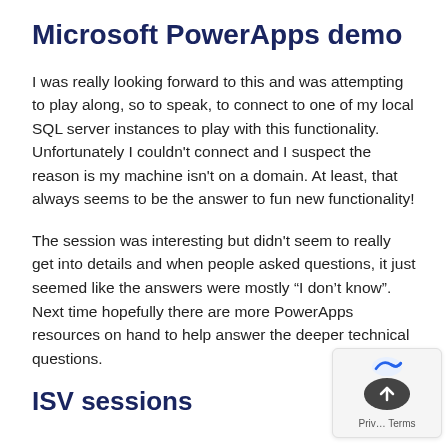Microsoft PowerApps demo
I was really looking forward to this and was attempting to play along, so to speak, to connect to one of my local SQL server instances to play with this functionality. Unfortunately I couldn't connect and I suspect the reason is my machine isn't on a domain. At least, that always seems to be the answer to fun new functionality!
The session was interesting but didn't seem to really get into details and when people asked questions, it just seemed like the answers were mostly “I don't know”. Next time hopefully there are more PowerApps resources on hand to help answer the deeper technical questions.
ISV sessions